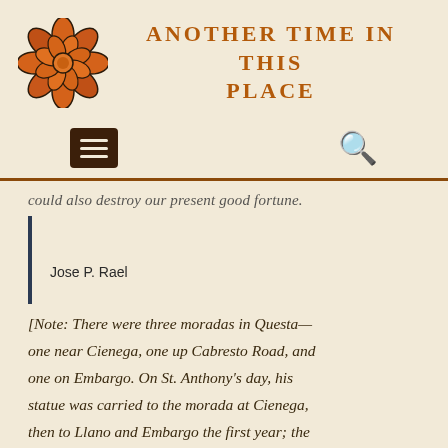[Figure (logo): Orange flower/succulent logo mark with dark outline]
ANOTHER TIME IN THIS PLACE
[Figure (other): Navigation bar with hamburger menu button and search icon]
could also destroy our present good fortune.
Jose P. Rael
[Note: There were three moradas in Questa—one near Cienega, one up Cabresto Road, and one on Embargo. On St. Anthony's day, his statue was carried to the morada at Cienega, then to Llano and Embargo the first year; the